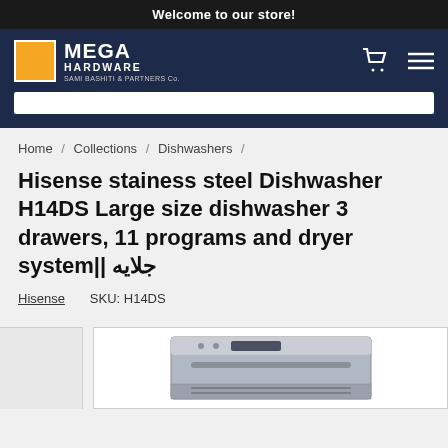Welcome to our store!
[Figure (logo): Mega Hardware - Sami Bashiti & Partners Co. logo with orange square icon]
Home / Collections / Dishwashers /
Hisense stainess steel Dishwasher H14DS Large size dishwasher 3 drawers, 11 programs and dryer system|| جلايه
Hisense   SKU: H14DS
[Figure (photo): Hisense stainless steel dishwasher H14DS product image showing front panel with display]